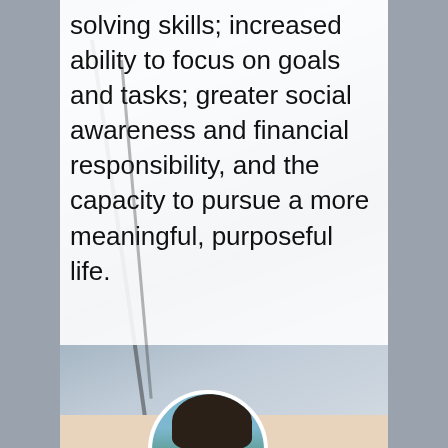solving skills; increased ability to focus on goals and tasks; greater social awareness and financial responsibility, and the capacity to pursue a more meaningful, purposeful life.
[Figure (photo): Circular portrait photo of a young person at the bottom of the page, set against a beige/tan background section. The upper portion of the page shows a blurred outdoor scene with diagonal dark lines (possibly poles or branches) against a light blue-gray background.]